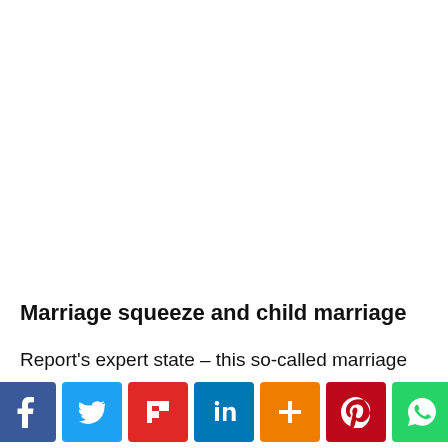Marriage squeeze and child marriage
Report's expert state – this so-called marriage squeeze, where prospective grooms outnumber prospective brides,
[Figure (other): Social media share bar with Facebook, Twitter, Flipboard, LinkedIn, AddThis, Pinterest, and WhatsApp buttons]